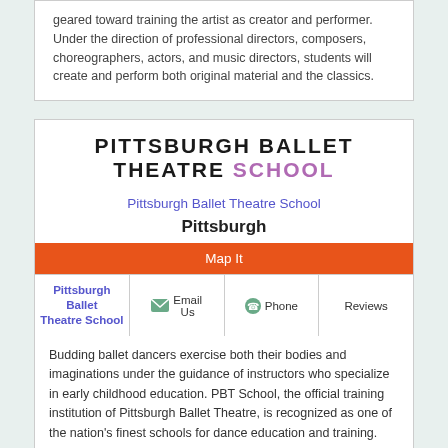geared toward training the artist as creator and performer. Under the direction of professional directors, composers, choreographers, actors, and music directors, students will create and perform both original material and the classics.
PITTSBURGH BALLET THEATRE SCHOOL
Pittsburgh Ballet Theatre School
Pittsburgh
Map It
| Pittsburgh Ballet Theatre School | Email Us | Phone | Reviews |
| --- | --- | --- | --- |
Budding ballet dancers exercise both their bodies and imaginations under the guidance of instructors who specialize in early childhood education. PBT School, the official training institution of Pittsburgh Ballet Theatre, is recognized as one of the nation's finest schools for dance education and training.